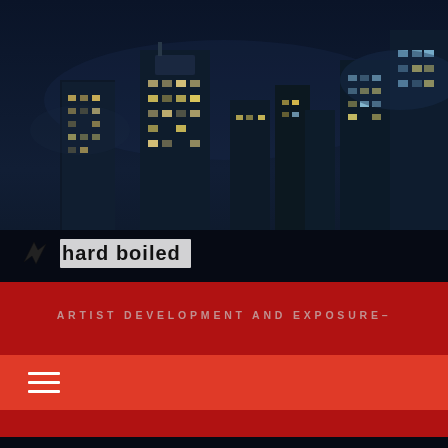[Figure (photo): Nighttime city skyline with illuminated skyscrapers against a dark blue sky]
hard boiled
ARTIST DEVELOPMENT AND EXPOSURE–

SPECIALIZING IN MODERN ROCK RADIO

PROMOTION
[Figure (other): Hamburger menu icon (three horizontal white lines) on orange-red background navigation bar]